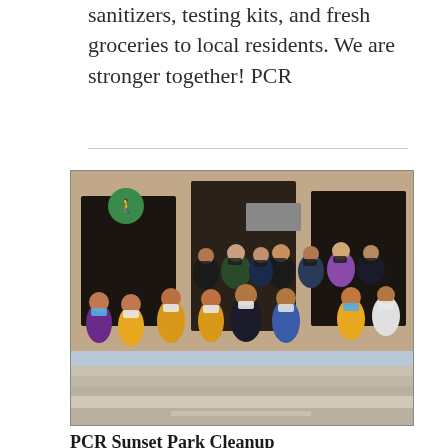sanitizers, testing kits, and fresh groceries to local residents. We are stronger together! PCR
[Figure (photo): Group photo of approximately 20-25 people, including adults and children, many wearing yellow vests and face masks, standing on steps in front of a brick building. Taken outdoors on a bright day.]
PCR Sunset Park Cleanup